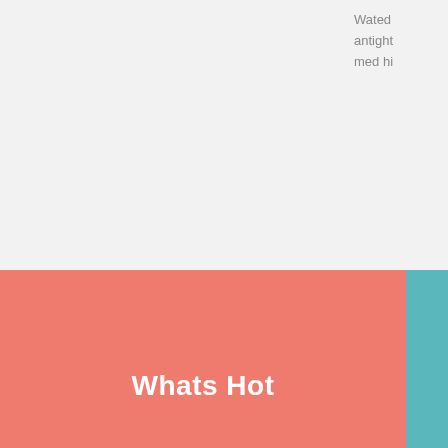Wated antight med hi
Whats Hot